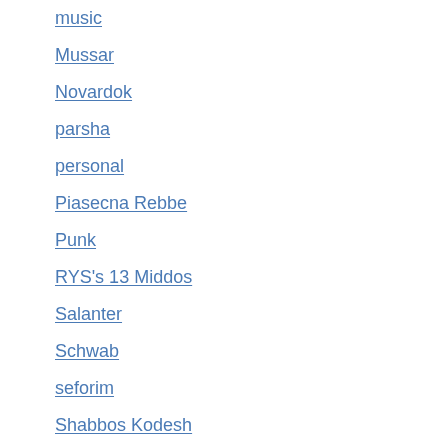music
Mussar
Novardok
parsha
personal
Piasecna Rebbe
Punk
RYS's 13 Middos
Salanter
Schwab
seforim
Shabbos Kodesh
Skwere
Slabodka
Soloveitchik
stories
Uncategorized
Weinberger
Wichita